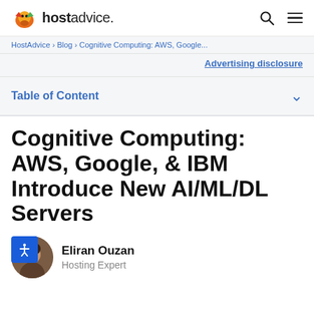hostadvice. [search] [menu]
HostAdvice > Blog > Cognitive Computing: AWS, Google...
Advertising disclosure
Table of Content
Cognitive Computing: AWS, Google, & IBM Introduce New AI/ML/DL Servers
Eliran Ouzan
Hosting Expert